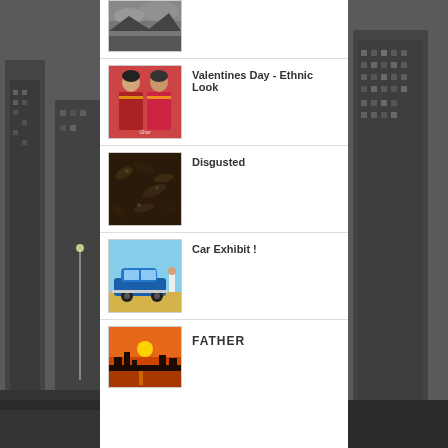[Figure (photo): Partial thumbnail of landscape/sky in black and white]
[Figure (photo): Two women in red Indian ethnic wear (sarees/salwar suits)]
Valentines Day - Ethnic Look
[Figure (photo): Close-up texture of dark dried chilies or similar dark food]
Disgusted
[Figure (photo): Blue classic muscle car with a person standing next to it outdoors]
Car Exhibit !
[Figure (photo): Sunset over water with orange sky and silhouetted city skyline]
FATHER